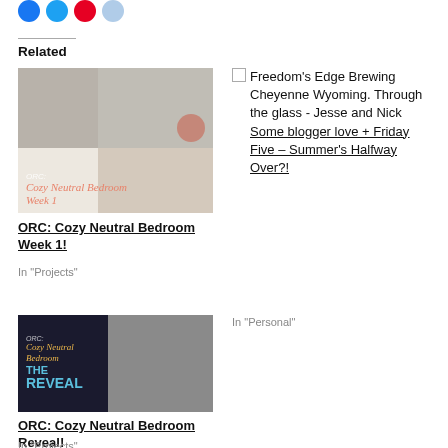[Figure (illustration): Social sharing icon circles: blue (Facebook), blue (Twitter), red (Pinterest), light blue]
Related
[Figure (photo): Collage of cozy neutral bedroom images with text overlay: ORC: Cozy Neutral Bedroom Week 1]
ORC: Cozy Neutral Bedroom Week 1!
In "Projects"
[Figure (photo): Freedom's Edge Brewing Cheyenne Wyoming placeholder image]
Freedom's Edge Brewing Cheyenne Wyoming. Through the glass - Jesse and Nick Some blogger love + Friday Five – Summer's Halfway Over?!
In "Personal"
[Figure (photo): ORC: Cozy Neutral Bedroom Reveal image with dark left panel showing gold italic text and THE REVEAL in teal, right side shows bedroom with grey pillow]
ORC: Cozy Neutral Bedroom Reveal!
In "Projects"